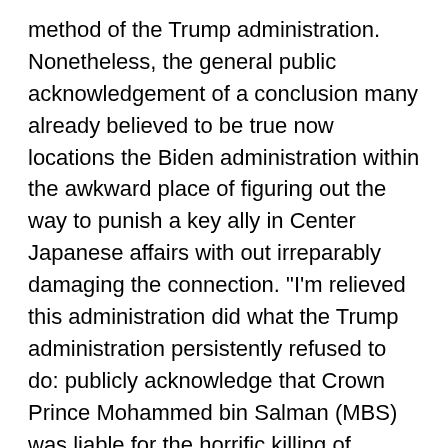method of the Trump administration. Nonetheless, the general public acknowledgement of a conclusion many already believed to be true now locations the Biden administration within the awkward place of figuring out the way to punish a key ally in Center Japanese affairs with out irreparably damaging the connection. "I'm relieved this administration did what the Trump administration persistently refused to do: publicly acknowledge that Crown Prince Mohammed bin Salman (MBS) was liable for the horrific killing of Virginia resident and journalist Jamal Khashoggi," Sen. Tim Kaine, Virginia Democrat, stated in a press release. "Whereas the discovering is unsurprising, it's necessary the reality is launched and that Saudi Arabia be held really accountable for this heinous crime earlier than its relationship with the U.S. can enhance." Kaine referred to as on Saudi Arabia to launch extra political prisoners and jailed dissidents. It has let out some in latest weeks,